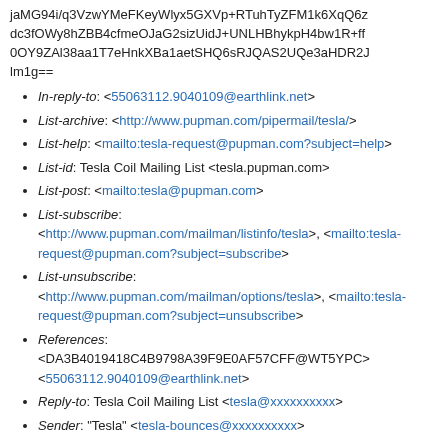jaMG94i/q3VzwYMeFKeyWlyx5GXVp+RTuhTyZFM1k6XqQ6z dc3fOWy8hZBB4cfmeOJaG2sizUidJ+UNLHBhykpH4bw1R+ff 0OY9ZAl38aa1T7eHnkXBa1aetSHQ6sRJQAS2UQe3aHDR2J lm1g==
In-reply-to: <55063112.9040109@earthlink.net>
List-archive: <http://www.pupman.com/pipermail/tesla/>
List-help: <mailto:tesla-request@pupman.com?subject=help>
List-id: Tesla Coil Mailing List <tesla.pupman.com>
List-post: <mailto:tesla@pupman.com>
List-subscribe: <http://www.pupman.com/mailman/listinfo/tesla>, <mailto:tesla-request@pupman.com?subject=subscribe>
List-unsubscribe: <http://www.pupman.com/mailman/options/tesla>, <mailto:tesla-request@pupman.com?subject=unsubscribe>
References: <DA3B4019418C4B9798A39F9E0AF57CFF@WT5YPC> <55063112.9040109@earthlink.net>
Reply-to: Tesla Coil Mailing List <tesla@xxxxxxxxxx>
Sender: "Tesla" <tesla-bounces@xxxxxxxxxx>